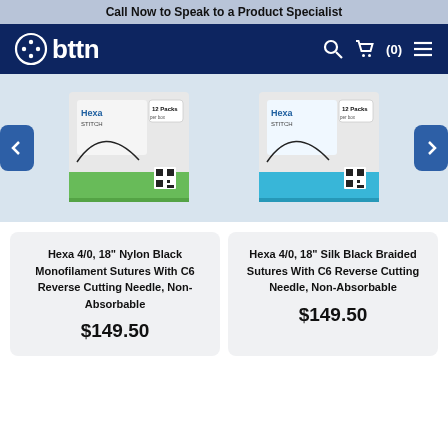Call Now to Speak to a Product Specialist
[Figure (logo): obttn logo with navigation icons on dark navy background]
[Figure (photo): Two Hexa Stitch suture product boxes (green and blue) shown as carousel with left/right navigation arrows]
Hexa 4/0, 18" Nylon Black Monofilament Sutures With C6 Reverse Cutting Needle, Non-Absorbable
$149.50
Hexa 4/0, 18" Silk Black Braided Sutures With C6 Reverse Cutting Needle, Non-Absorbable
$149.50